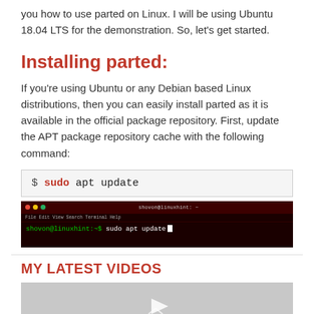you how to use parted on Linux. I will be using Ubuntu 18.04 LTS for the demonstration. So, let's get started.
Installing parted:
If you're using Ubuntu or any Debian based Linux distributions, then you can easily install parted as it is available in the official package repository. First, update the APT package repository cache with the following command:
[Figure (screenshot): Code block showing terminal command: $ sudo apt update]
[Figure (screenshot): Terminal window screenshot showing: shovon@linuxhint:~$ sudo apt update with cursor, on dark red/black background]
MY LATEST VIDEOS
[Figure (screenshot): Video thumbnail placeholder with play button icon on gray background]